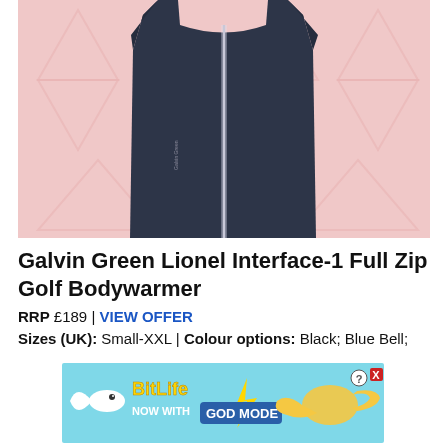[Figure (photo): A dark navy/charcoal sleeveless full-zip golf bodywarmer (gilet) displayed on a pink background with subtle triangle pattern watermarks. The garment has a reflective strip along the front zip and small branding on the left chest.]
Galvin Green Lionel Interface-1 Full Zip Golf Bodywarmer
RRP £189 | VIEW OFFER
Sizes (UK): Small-XXL | Colour options: Black; Blue Bell;
[Figure (screenshot): Advertisement banner for BitLife game — 'NOW WITH GOD MODE' — featuring cartoon hand pointer and sperm mascot on a light blue background with lightning bolt graphic.]